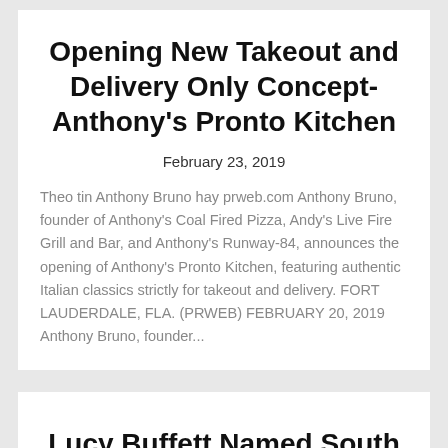Opening New Takeout and Delivery Only Concept-Anthony's Pronto Kitchen
February 23, 2019
Theo tin Anthony Bruno hay prweb.com Anthony Bruno, founder of Anthony's Coal Fired Pizza, Andy's Live Fire Grill and Bar, and Anthony's Runway-84, announces the opening of Anthony's Pronto Kitchen, featuring authentic Italian classics strictly for takeout and delivery. FORT LAUDERDALE, FLA. (PRWEB) FEBRUARY 20, 2019 Anthony Bruno, founder...
Lucy Buffett Named South Carolina's ‘Restaurateur of the Year'